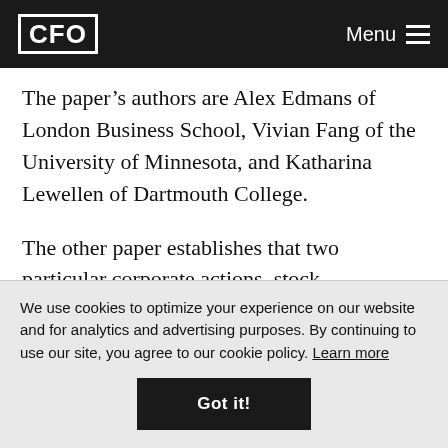CFO Menu
The paper’s authors are Alex Edmans of London Business School, Vivian Fang of the University of Minnesota, and Katharina Lewellen of Dartmouth College.
The other paper establishes that two particular corporate actions, stock repurchases and acquisitions, are both
We use cookies to optimize your experience on our website and for analytics and advertising purposes. By continuing to use our site, you agree to our cookie policy. Learn more
Got it!